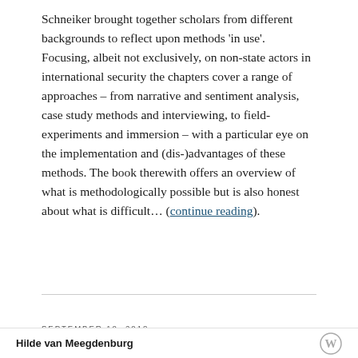Schneiker brought together scholars from different backgrounds to reflect upon methods 'in use'. Focusing, albeit not exclusively, on non-state actors in international security the chapters cover a range of approaches – from narrative and sentiment analysis, case study methods and interviewing, to field-experiments and immersion – with a particular eye on the implementation and (dis-)advantages of these methods. The book therewith offers an overview of what is methodologically possible but is also honest about what is difficult… (continue reading).
SEPTEMBER 10, 2018
Hilde van Meegdenburg